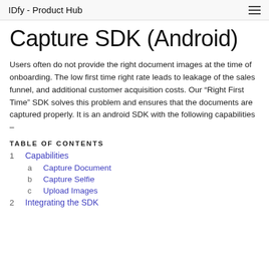IDfy - Product Hub
Capture SDK (Android)
Users often do not provide the right document images at the time of onboarding. The low first time right rate leads to leakage of the sales funnel, and additional customer acquisition costs. Our “Right First Time” SDK solves this problem and ensures that the documents are captured properly. It is an android SDK with the following capabilities –
TABLE OF CONTENTS
1  Capabilities
a  Capture Document
b  Capture Selfie
c  Upload Images
2  Integrating the SDK